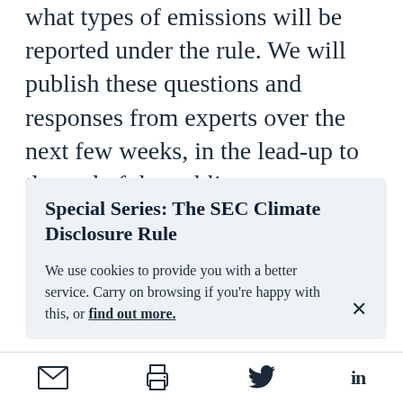what types of emissions will be reported under the rule. We will publish these questions and responses from experts over the next few weeks, in the lead-up to the end of the public comment period on June 17, 2022.
Special Series: The SEC Climate Disclosure Rule
We use cookies to provide you with a better service. Carry on browsing if you're happy with this, or find out more.
Email | Print | Twitter | LinkedIn